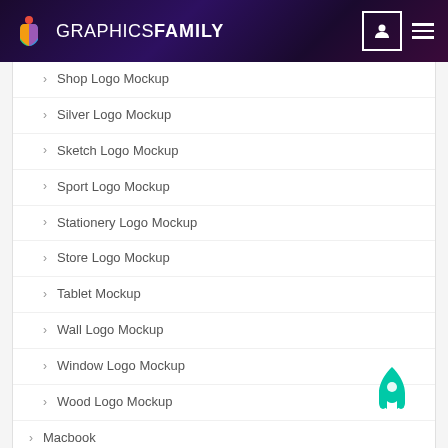[Figure (logo): GraphicsFamily logo with colorful icon and white text on dark purple/gradient header background]
Shop Logo Mockup
Silver Logo Mockup
Sketch Logo Mockup
Sport Logo Mockup
Stationery Logo Mockup
Store Logo Mockup
Tablet Mockup
Wall Logo Mockup
Window Logo Mockup
Wood Logo Mockup
Macbook
Magazine
Mug